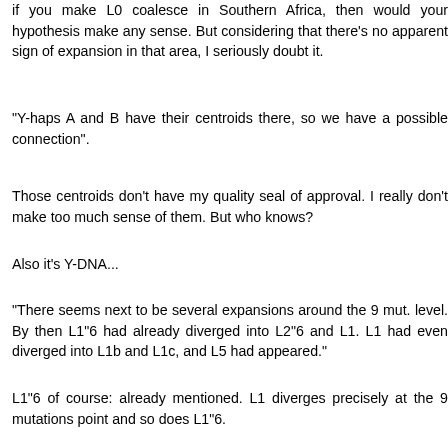if you make L0 coalesce in Southern Africa, then would your hypothesis make any sense. But considering that there's no apparent sign of expansion in that area, I seriously doubt it.
"Y-haps A and B have their centroids there, so we have a possible connection".
Those centroids don't have my quality seal of approval. I really don't make too much sense of them. But who knows?
Also it's Y-DNA...
"There seems next to be several expansions around the 9 mut. level. By then L1"6 had already diverged into L2"6 and L1. L1 had even diverged into L1b and L1c, and L5 had appeared."
L1"6 of course: already mentioned. L1 diverges precisely at the 9 mutations point and so does L1"6.
However L1b, L1c, L5 and L2"6 would only coalesce (branch out) after some more mutations. At this stage they